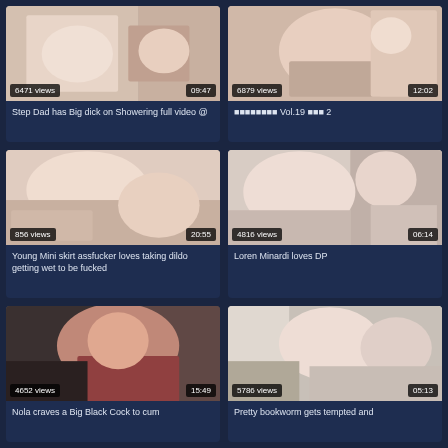[Figure (screenshot): Video thumbnail - Step Dad has Big dick on Showering full video @, 6471 views, 09:47]
Step Dad has Big dick on Showering full video @
[Figure (screenshot): Video thumbnail - Japanese Vol.19 part 2, 6879 views, 12:02]
🎵🎵🎵🎵🎵🎵🎵🎵 Vol.19 🎵🎵🎵 2
[Figure (screenshot): Video thumbnail - Young Mini skirt assfucker loves taking dildo getting wet to be fucked, 856 views, 20:55]
Young Mini skirt assfucker loves taking dildo getting wet to be fucked
[Figure (screenshot): Video thumbnail - Loren Minardi loves DP, 4816 views, 06:14]
Loren Minardi loves DP
[Figure (screenshot): Video thumbnail - Nola craves a Big Black Cock to cum, 4652 views, 15:49]
Nola craves a Big Black Cock to cum
[Figure (screenshot): Video thumbnail - Pretty bookworm gets tempted and, 5786 views, 05:13]
Pretty bookworm gets tempted and